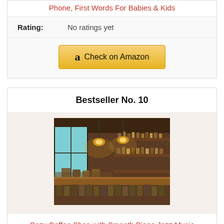Phone, First Words For Babies & Kids
Rating: No ratings yet
[Figure (screenshot): Check on Amazon button with Amazon logo]
Bestseller No. 10
[Figure (photo): Interior of a cozy coffee shop with warm pendant lights, wooden bar, and jars on shelves]
Cozy Coffee Shop with Smooth Piano Jazz Music Screensaver - NO ADS